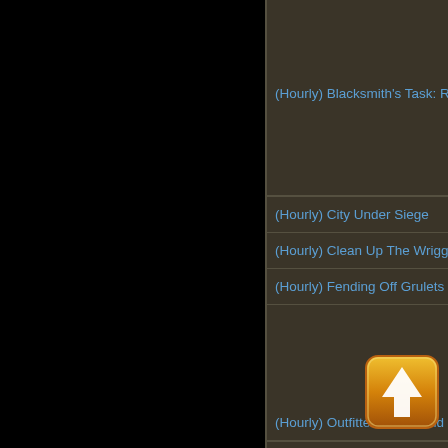(Hourly) Blacksmith's Task: Repa
(Hourly) City Under Siege
(Hourly) Clean Up The Wriggling
(Hourly) Fending Off Grulets
(Hourly) Outfitter's end th